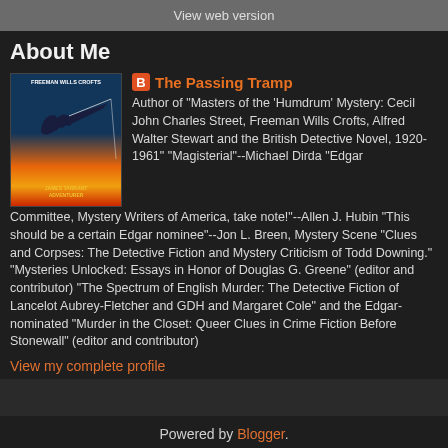View web version
About Me
[Figure (illustration): Book cover image for a mystery novel featuring a silhouette of a fishing figure against an orange/red background]
The Passing Tramp
Author of "Masters of the 'Humdrum' Mystery: Cecil John Charles Street, Freeman Wills Crofts, Alfred Walter Stewart and the British Detective Novel, 1920-1961" "Magisterial"--Michael Dirda "Edgar Committee, Mystery Writers of America, take note!"--Allen J. Hubin "This should be a certain Edgar nominee"--Jon L. Breen, Mystery Scene "Clues and Corpses: The Detective Fiction and Mystery Criticism of Todd Downing." "Mysteries Unlocked: Essays in Honor of Douglas G. Greene" (editor and contributor) "The Spectrum of English Murder: The Detective Fiction of Lancelot Aubrey-Fletcher and GDH and Margaret Cole" and the Edgar-nominated "Murder in the Closet: Queer Clues in Crime Fiction Before Stonewall" (editor and contributor)
View my complete profile
Powered by Blogger.